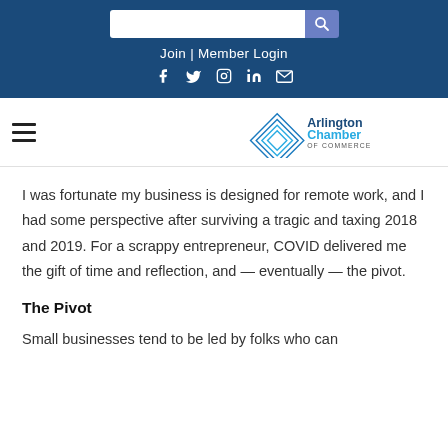Join | Member Login
[Figure (logo): Arlington Chamber of Commerce logo with blue wave/diamond shape and text]
I was fortunate my business is designed for remote work, and I had some perspective after surviving a tragic and taxing 2018 and 2019. For a scrappy entrepreneur, COVID delivered me the gift of time and reflection, and — eventually — the pivot.
The Pivot
Small businesses tend to be led by folks who can